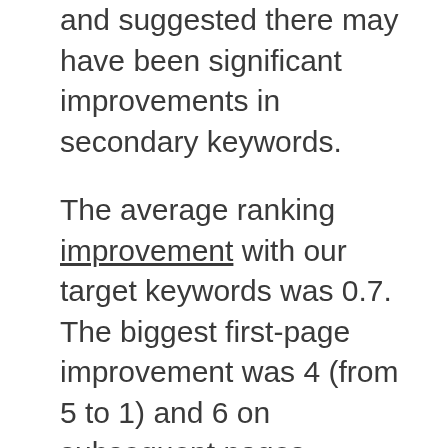and suggested there may have been significant improvements in secondary keywords.
The average ranking improvement with our target keywords was 0.7. The biggest first-page improvement was 4 (from 5 to 1) and 6 on subsequent pages (position 36 to 30). The biggest logged drop in position was 4 (ignoring those who lost ranking outright).
Discover the Burgh had 18